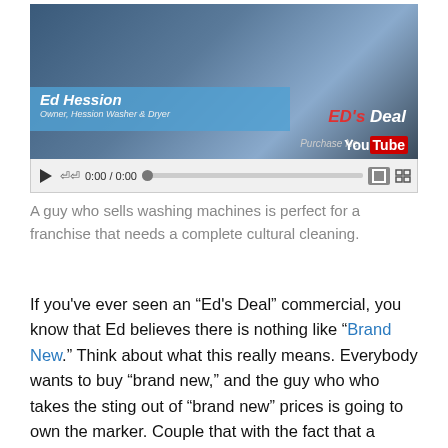[Figure (screenshot): YouTube video player screenshot showing Ed Hession, Owner of Hession Washer & Dryer, with 'Ed's Deal' branding. Video controls show 0:00/0:00 time. Blue overlay with name and title on left, Ed's Deal logo on right, YouTube logo bottom right.]
A guy who sells washing machines is perfect for a franchise that needs a complete cultural cleaning.
If you've ever seen an “Ed's Deal” commercial, you know that Ed believes there is nothing like “Brand New.” Think about what this really means. Everybody wants to buy “brand new,” and the guy who who takes the sting out of “brand new” prices is going to own the marker. Couple that with the fact that a brand new washer is going to work better than the one you got out of your grandmother’s basement and you see the concept.  Just like the 23-year-old quality outfielder is going to be a better investment